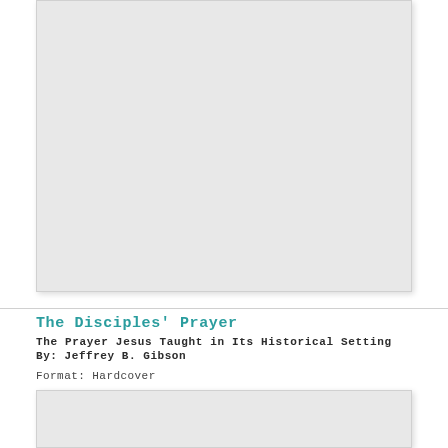[Figure (illustration): Book cover image placeholder (light gray rectangle) for The Disciples' Prayer]
The Disciples' Prayer
The Prayer Jesus Taught in Its Historical Setting
By: Jeffrey B. Gibson
Format: Hardcover
[Figure (illustration): Book cover image placeholder (light gray rectangle), partially visible at bottom of page]